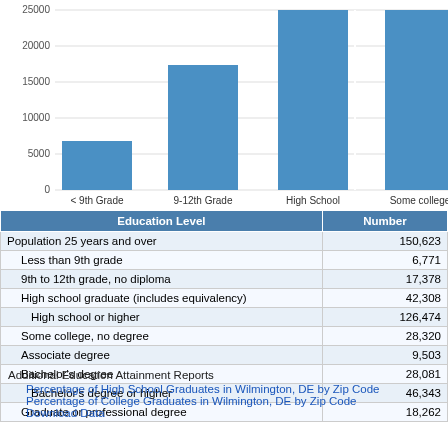[Figure (bar-chart): Education Level Distribution]
| Education Level | Number |
| --- | --- |
| Population 25 years and over | 150,623 |
| Less than 9th grade | 6,771 |
| 9th to 12th grade, no diploma | 17,378 |
| High school graduate (includes equivalency) | 42,308 |
| High school or higher | 126,474 |
| Some college, no degree | 28,320 |
| Associate degree | 9,503 |
| Bachelor's degree | 28,081 |
| Bachelor's degree or higher | 46,343 |
| Graduate or professional degree | 18,262 |
Additional Education Attainment Reports
Percentage of High School Graduates in Wilmington, DE by Zip Code
Percentage of College Graduates in Wilmington, DE by Zip Code
Download Data